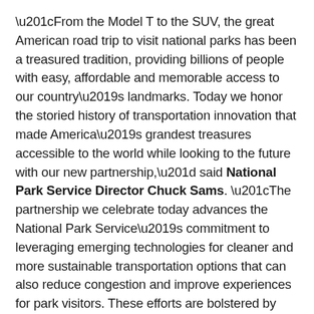“From the Model T to the SUV, the great American road trip to visit national parks has been a treasured tradition, providing billions of people with easy, affordable and memorable access to our country’s landmarks. Today we honor the storied history of transportation innovation that made America’s grandest treasures accessible to the world while looking to the future with our new partnership,” said National Park Service Director Chuck Sams. “The partnership we celebrate today advances the National Park Service’s commitment to leveraging emerging technologies for cleaner and more sustainable transportation options that can also reduce congestion and improve experiences for park visitors. These efforts are bolstered by recent landmark legislation, including the Great American Outdoors Act and the Bipartisan Infrastructure Bill, that encourages collaborative efforts to make